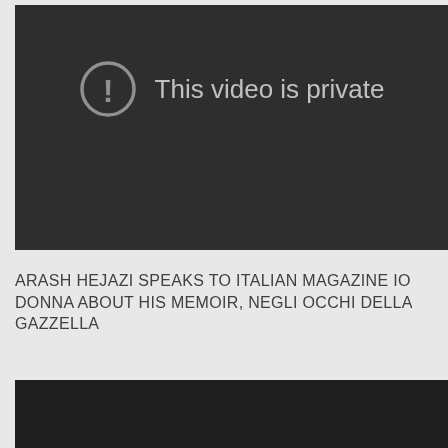[Figure (screenshot): Dark video player showing 'This video is private' message with an exclamation mark in a circle icon]
ARASH HEJAZI SPEAKS TO ITALIAN MAGAZINE IO DONNA ABOUT HIS MEMOIR, NEGLI OCCHI DELLA GAZZELLA
[Figure (screenshot): Dark video player thumbnail at the bottom of the page]